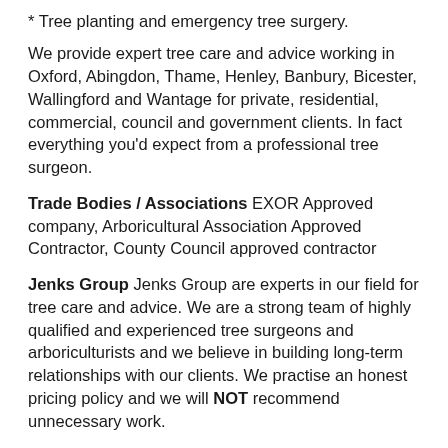* Tree planting and emergency tree surgery.
We provide expert tree care and advice working in Oxford, Abingdon, Thame, Henley, Banbury, Bicester, Wallingford and Wantage for private, residential, commercial, council and government clients. In fact everything you'd expect from a professional tree surgeon.
Trade Bodies / Associations EXOR Approved company, Arboricultural Association Approved Contractor, County Council approved contractor
Jenks Group Jenks Group are experts in our field for tree care and advice. We are a strong team of highly qualified and experienced tree surgeons and arboriculturists and we believe in building long-term relationships with our clients. We practise an honest pricing policy and we will NOT recommend unnecessary work.